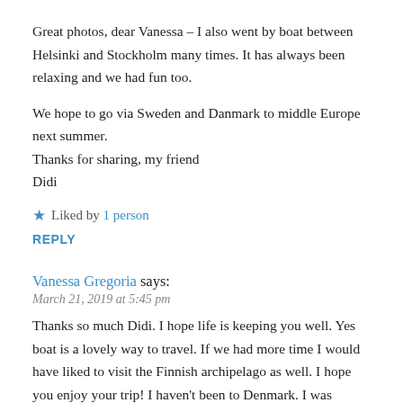Great photos, dear Vanessa – I also went by boat between Helsinki and Stockholm many times. It has always been relaxing and we had fun too.

We hope to go via Sweden and Danmark to middle Europe next summer.
Thanks for sharing, my friend
Didi
★ Liked by 1 person
REPLY
Vanessa Gregoria says:
March 21, 2019 at 5:45 pm
Thanks so much Didi. I hope life is keeping you well. Yes boat is a lovely way to travel. If we had more time I would have liked to visit the Finnish archipelago as well. I hope you enjoy your trip! I haven't been to Denmark. I was hoping to visit in the next couple of years because some friends were going to move there